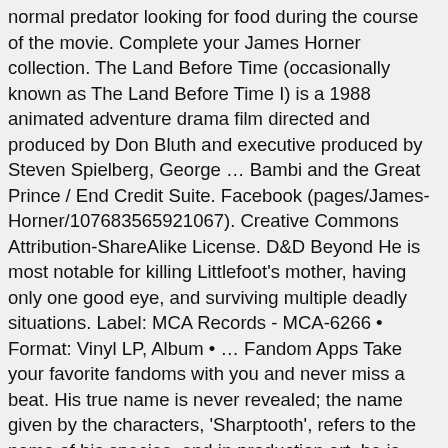normal predator looking for food during the course of the movie. Complete your James Horner collection. The Land Before Time (occasionally known as The Land Before Time I) is a 1988 animated adventure drama film directed and produced by Don Bluth and executive produced by Steven Spielberg, George … Bambi and the Great Prince / End Credit Suite. Facebook (pages/James-Horner/107683565921067). Creative Commons Attribution-ShareAlike License. D&D Beyond He is most notable for killing Littlefoot's mother, having only one good eye, and surviving multiple deadly situations. Label: MCA Records - MCA-6266 • Format: Vinyl LP, Album • … Fandom Apps Take your favorite fandoms with you and never miss a beat. His true name is never revealed; the name given by the characters, 'Sharptooth', refers to the name of his species, and in production art, he is simply labelled 'Tyrannosaurus Rex'. The Land Before Time is an American animated television series, based on The Land Before Time film series created by Judy Freudberg and Tony Geiss.It was developed for television by Ford Riley for … The Plated Sharptooth is olive green in color and bright, dull green